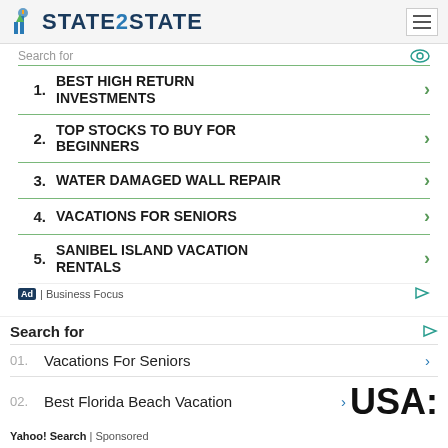STATE2STATE
Search for
1. BEST HIGH RETURN INVESTMENTS
2. TOP STOCKS TO BUY FOR BEGINNERS
3. WATER DAMAGED WALL REPAIR
4. VACATIONS FOR SENIORS
5. SANIBEL ISLAND VACATION RENTALS
Ad | Business Focus
Search for
01. Vacations For Seniors
02. Best Florida Beach Vacation
Yahoo! Search | Sponsored